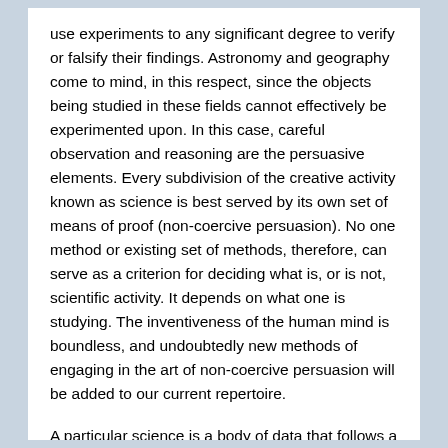use experiments to any significant degree to verify or falsify their findings. Astronomy and geography come to mind, in this respect, since the objects being studied in these fields cannot effectively be experimented upon. In this case, careful observation and reasoning are the persuasive elements. Every subdivision of the creative activity known as science is best served by its own set of means of proof (non-coercive persuasion). No one method or existing set of methods, therefore, can serve as a criterion for deciding what is, or is not, scientific activity. It depends on what one is studying. The inventiveness of the human mind is boundless, and undoubtedly new methods of engaging in the art of non-coercive persuasion will be added to our current repertoire.
A particular science is a body of data that follows a